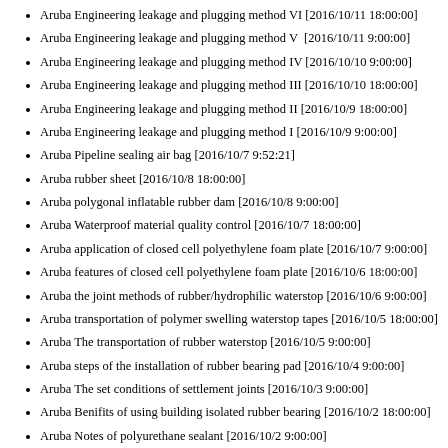Aruba Engineering leakage and plugging method VI [2016/10/11 18:00:00]
Aruba Engineering leakage and plugging method V [2016/10/11 9:00:00]
Aruba Engineering leakage and plugging method IV [2016/10/10 9:00:00]
Aruba Engineering leakage and plugging method III [2016/10/10 18:00:00]
Aruba Engineering leakage and plugging method II [2016/10/9 18:00:00]
Aruba Engineering leakage and plugging method I [2016/10/9 9:00:00]
Aruba Pipeline sealing air bag [2016/10/7 9:52:21]
Aruba rubber sheet [2016/10/8 18:00:00]
Aruba polygonal inflatable rubber dam [2016/10/8 9:00:00]
Aruba Waterproof material quality control [2016/10/7 18:00:00]
Aruba application of closed cell polyethylene foam plate [2016/10/7 9:00:00]
Aruba features of closed cell polyethylene foam plate [2016/10/6 18:00:00]
Aruba the joint methods of rubber/hydrophilic waterstop [2016/10/6 9:00:00]
Aruba transportation of polymer swelling waterstop tapes [2016/10/5 18:00:00]
Aruba The transportation of rubber waterstop [2016/10/5 9:00:00]
Aruba steps of the installation of rubber bearing pad [2016/10/4 9:00:00]
Aruba The set conditions of settlement joints [2016/10/3 9:00:00]
Aruba Benifits of using building isolated rubber bearing [2016/10/2 18:00:00]
Aruba Notes of polyurethane sealant [2016/10/2 9:00:00]